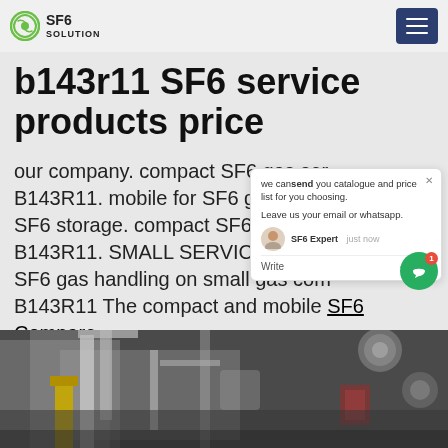SF6 SOLUTION
b143r11 SF6 service products price
our company. compact SF6 gas ser... B143R11. mobile for SF6 gas recov... SF6 storage. compact SF6 gas serv... B143R11. SMALL SERVICE CART SF6 gas handling on small gas com... B143R11 The compact and mobile SF6 Compare this product Remove from comparison tool ; our company. High quality SF6 maintenance equipment
[Figure (screenshot): Chat widget overlay showing: 'we can send you catalogue and price list for you choosing. Leave us your email or whatsapp.' with SF6 Expert justnow label and Write input field with emoji icons]
[Figure (photo): Black and white photo of SF6 gas service cart machinery/equipment]